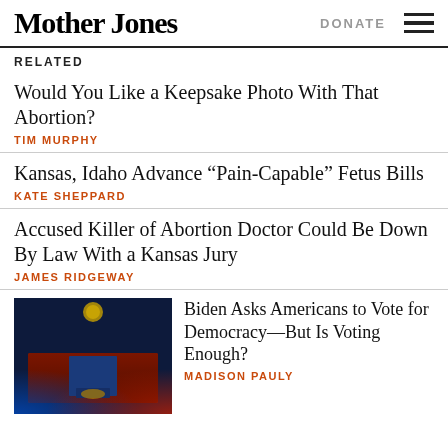Mother Jones | DONATE
RELATED
Would You Like a Keepsake Photo With That Abortion?
TIM MURPHY
Kansas, Idaho Advance “Pain-Capable” Fetus Bills
KATE SHEPPARD
Accused Killer of Abortion Doctor Could Be Down By Law With a Kansas Jury
JAMES RIDGEWAY
[Figure (photo): Person speaking at a podium on a stage lit with red and blue lights]
Biden Asks Americans to Vote for Democracy—But Is Voting Enough?
MADISON PAULY